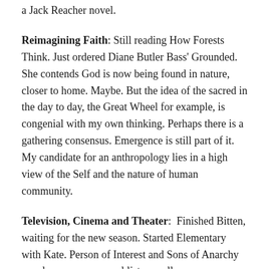a Jack Reacher novel.
Reimagining Faith: Still reading How Forests Think. Just ordered Diane Butler Bass' Grounded. She contends God is now being found in nature, closer to home. Maybe. But the idea of the sacred in the day to day, the Great Wheel for example, is congenial with my own thinking. Perhaps there is a gathering consensus. Emergence is still part of it. My candidate for an anthropology lies in a high view of the Self and the nature of human community.
Television, Cinema and Theater: Finished Bitten, waiting for the new season. Started Elementary with Kate. Person of Interest and Sons of Anarchy are also on my personal list as well as a summer CBS series, Zoo. Got a little bit into binge watching this month and it bothered me. Mostly because it didn't seem to bother me.